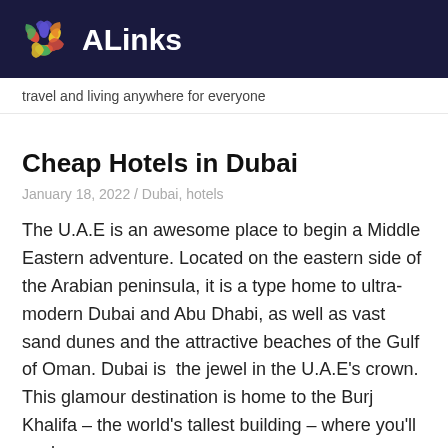ALinks
travel and living anywhere for everyone
Cheap Hotels in Dubai
January 18, 2022 / Dubai, hotels
The U.A.E is an awesome place to begin a Middle Eastern adventure. Located on the eastern side of the Arabian peninsula, it is a type home to ultra-modern Dubai and Abu Dhabi, as well as vast sand dunes and the attractive beaches of the Gulf of Oman. Dubai is  the jewel in the U.A.E's crown. This glamour destination is home to the Burj Khalifa – the world's tallest building – where you'll soak up